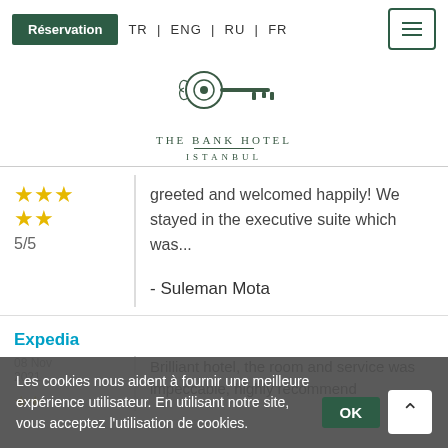Réservation | TR | ENG | RU | FR
[Figure (logo): The Bank Hotel Istanbul logo with decorative key illustration]
greeted and welcomed happily! We stayed in the executive suite which was...
- Suleman Mota
Expedia
08 Nov 2021
Brilliant hotel, the room and service was impeccable, highly recommend
5/5
Les cookies nous aident à fournir une meilleure expérience utilisateur. En utilisant notre site, vous acceptez l'utilisation de cookies.